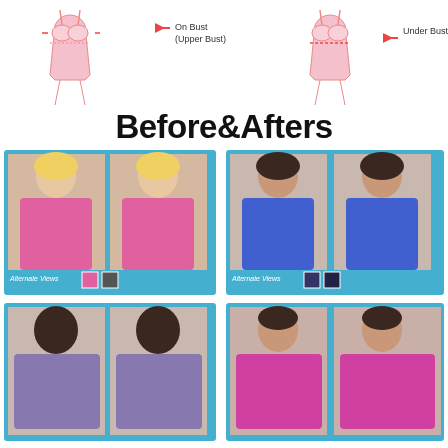[Figure (illustration): Diagram showing bra measurement positions: 'On Bust (Upper Bust)' with arrow pointing left, and 'Under Bust' with arrow pointing left, illustrated on two schematic figures wearing a bra]
Before&Afters
[Figure (photo): Before and after comparison photo set. Top-left pair: blonde woman in pink top, before and after. Top-right pair: dark-haired woman in blue top, before and after, each with 'Alternate Views' thumbnail strip. Bottom-left pair: Black woman in purple top, before and after. Bottom-right pair: Latina woman in pink/magenta top, before and after.]